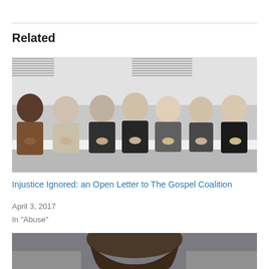Related
[Figure (photo): Black and white group photo of seven men standing in a row, smiling, leaning on a railing in what appears to be an indoor setting with windows in the background.]
Injustice Ignored: an Open Letter to The Gospel Coalition
April 3, 2017
In "Abuse"
[Figure (photo): Partial photo showing the back of a person's head with long hair against a blurred background.]